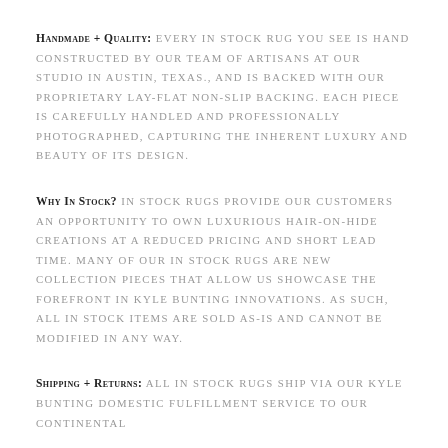Handmade + Quality: Every in stock rug you see is hand constructed by our team of artisans at our studio in Austin, Texas., and is backed with our proprietary lay-flat non-slip backing. Each piece is carefully handled and professionally photographed, capturing the inherent luxury and beauty of its design.
Why In Stock? In stock rugs provide our customers an opportunity to own luxurious hair-on-hide creations at a reduced pricing and short lead time. Many of our in stock rugs are new collection pieces that allow us showcase the forefront in Kyle Bunting innovations. As such, all in stock items are sold as-is and cannot be modified in any way.
Shipping + Returns: All in stock rugs ship via our Kyle Bunting domestic fulfillment service to our continental...